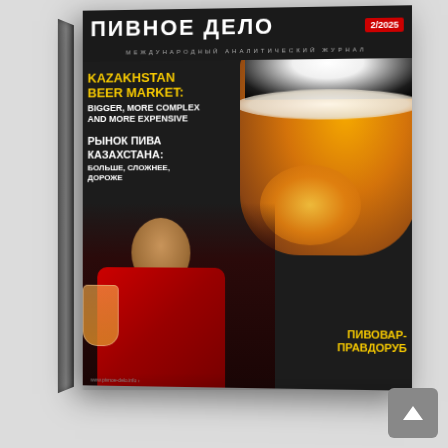[Figure (photo): A 3D rendered magazine cover for 'Пивное Дело' (Beer Business), issue 2/2025, international analytical journal. The dark cover features: English headline 'KAZAKHSTAN BEER MARKET: BIGGER, MORE COMPLEX AND MORE EXPENSIVE' in yellow/white bold text; Russian headline 'РЫНОК ПИВА КАЗАХСТАНА: БОЛЬШЕ, СЛОЖНЕЕ, ДОРОЖЕ'; a large tilted beer glass pouring golden beer; a man in a red vest holding a wine glass and a bottle; tagline 'ПИВОВАР-ПРАВДОРУБ' in yellow; website www.pivnoe-delo.info. The cover has a 3D book effect with spine visible and reflection below.]